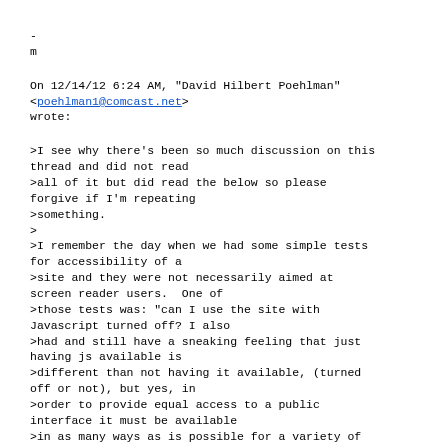-
m
On 12/14/12 6:24 AM, "David Hilbert Poehlman" <poehlman1@comcast.net> wrote:
>I see why there's been so much discussion on this thread and did not read
>all of it but did read the below so please forgive if I'm repeating
>something.
>
>I remember the day when we had some simple tests for accessibility of a
>site and they were not necessarily aimed at screen reader users.  One of
>those tests was: "can I use the site with Javascript turned off? I also
>had and still have a sneaking feeling that just having js available is
>different than not having it available, (turned off or not), but yes, in
>order to provide equal access to a public interface it must be available
>in as many ways as is possible for a variety of reasons, not the least of